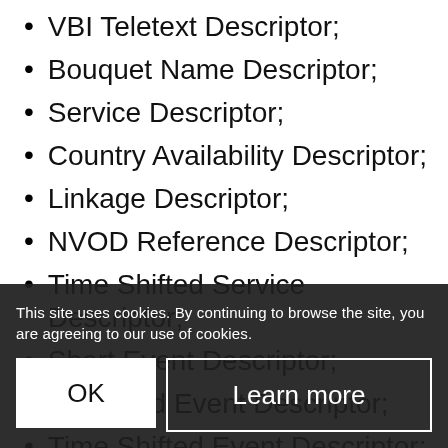VBI Teletext Descriptor;
Bouquet Name Descriptor;
Service Descriptor;
Country Availability Descriptor;
Linkage Descriptor;
NVOD Reference Descriptor;
Time Shifted Service Descriptor;
Short Event Descriptor;
Extended Event Descriptor;
Time Shifted Event Descriptor;
Component Descriptor;
Mosaic Descriptor;
Stream Identifier Descriptor;
This site uses cookies. By continuing to browse the site, you are agreeing to our use of cookies.